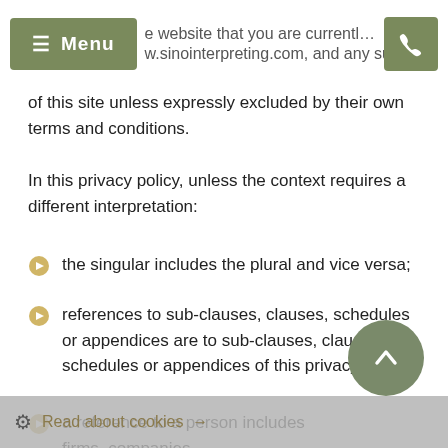Menu | website that you are currently using, sinointerpreting.com, and any sub-domain
of this site unless expressly excluded by their own terms and conditions.
In this privacy policy, unless the context requires a different interpretation:
the singular includes the plural and vice versa;
references to sub-clauses, clauses, schedules or appendices are to sub-clauses, clauses, schedules or appendices of this privacy policy;
a reference to a person includes firms, companies, government entities, trusts and partnerships;
"including" is understood to mean "including without limitation";
reference to any statutory provision includes any